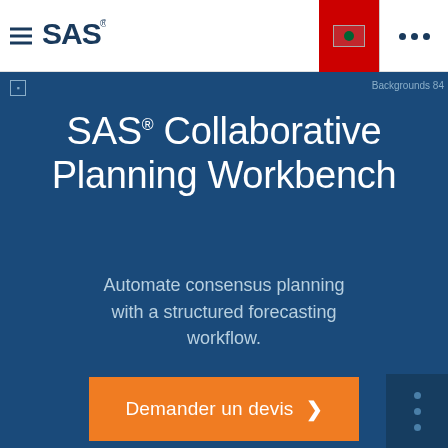[Figure (logo): SAS Institute logo with hamburger menu icon on white navigation bar]
SAS® Collaborative Planning Workbench
Automate consensus planning with a structured forecasting workflow.
Demander un devis ›